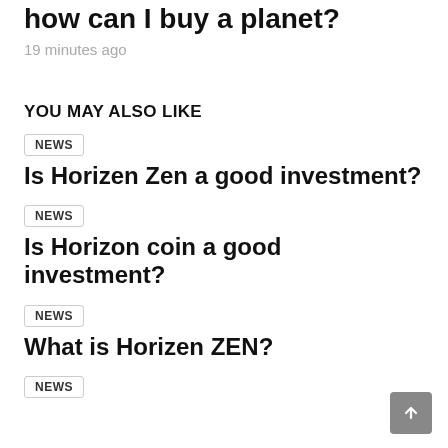how can I buy a planet?
19 minutes ago
YOU MAY ALSO LIKE
NEWS
Is Horizen Zen a good investment?
NEWS
Is Horizon coin a good investment?
NEWS
What is Horizen ZEN?
NEWS